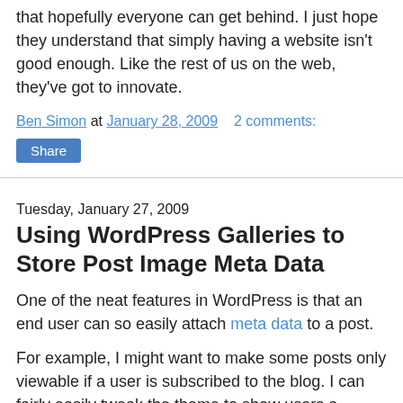that hopefully everyone can get behind. I just hope they understand that simply having a website isn't good enough. Like the rest of us on the web, they've got to innovate.
Ben Simon at January 28, 2009   2 comments:
Share
Tuesday, January 27, 2009
Using WordPress Galleries to Store Post Image Meta Data
One of the neat features in WordPress is that an end user can so easily attach meta data to a post.
For example, I might want to make some posts only viewable if a user is subscribed to the blog. I can fairly easily tweak the theme to show users a message if they aren't logged in. I can then instruct the owner of the blog to use a custom field (the layman's term for meta data) named visibility with either the value free or subscription. The